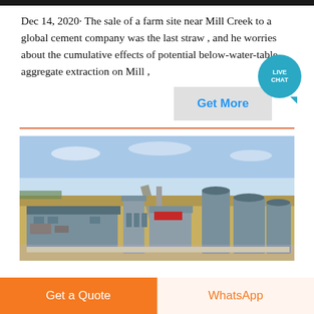Dec 14, 2020· The sale of a farm site near Mill Creek to a global cement company was the last straw , and he worries about the cumulative effects of potential below-water-table aggregate extraction on Mill ,
[Figure (other): A 'Get More' button with grey background and blue text, and a Live Chat bubble overlay (teal circular badge)]
[Figure (photo): Aerial view of a cement or industrial plant facility with large grey buildings, storage silos, and open dry land surrounding the complex]
Get a Quote
WhatsApp